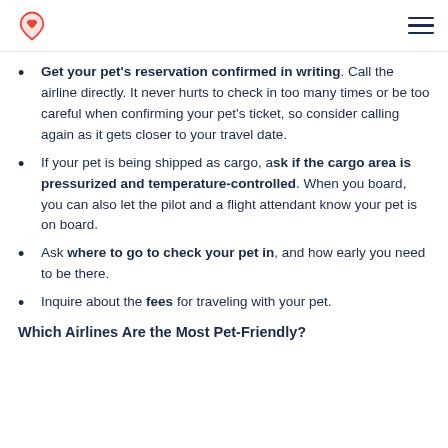[Logo] [Hamburger menu]
Get your pet's reservation confirmed in writing. Call the airline directly. It never hurts to check in too many times or be too careful when confirming your pet's ticket, so consider calling again as it gets closer to your travel date.
If your pet is being shipped as cargo, ask if the cargo area is pressurized and temperature-controlled. When you board, you can also let the pilot and a flight attendant know your pet is on board.
Ask where to go to check your pet in, and how early you need to be there.
Inquire about the fees for traveling with your pet.
Which Airlines Are the Most Pet-Friendly?